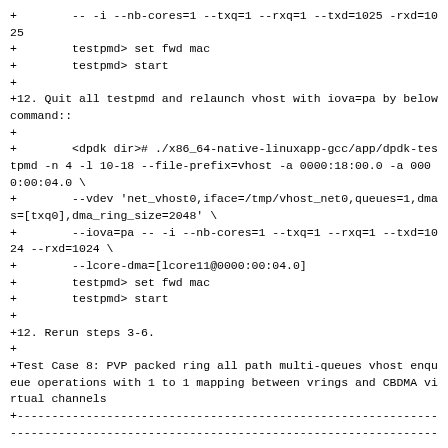+        -- -i --nb-cores=1 --txq=1 --rxq=1 --txd=1025 -rxd=1025
+        testpmd> set fwd mac
+        testpmd> start
+
+12. Quit all testpmd and relaunch vhost with iova=pa by below command::
+
+        <dpdk dir># ./x86_64-native-linuxapp-gcc/app/dpdk-testpmd -n 4 -l 10-18 --file-prefix=vhost -a 0000:18:00.0 -a 0000:00:04.0 \
+        --vdev 'net_vhost0,iface=/tmp/vhost_net0,queues=1,dmas=[txq0],dma_ring_size=2048' \
+        --iova=pa -- -i --nb-cores=1 --txq=1 --rxq=1 --txd=1024 --rxd=1024 \
+        --lcore-dma=[lcore11@0000:00:04.0]
+        testpmd> set fwd mac
+        testpmd> start
+
+12. Rerun steps 3-6.
+
+Test Case 8: PVP packed ring all path multi-queues vhost enqueue operations with 1 to 1 mapping between vrings and CBDMA virtual channels
+------------------------------------------------------------------------------------------------------------------------------------.
+This case uses testpmd and Traffic Generator(For example, Trex) to test performance of packed ring in